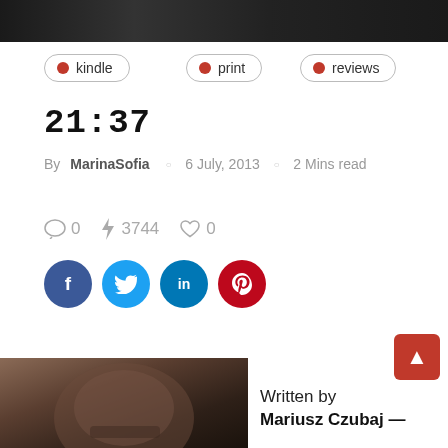[Figure (photo): Dark top image, partially cropped, appears to show stylized numbers or a graphic on a dark background]
kindle
print
reviews
21:37
By MarinaSofia  6 July, 2013  2 Mins read
0  3744  0
[Figure (infographic): Social share buttons: Facebook (blue circle), Twitter (light blue circle), LinkedIn (dark blue circle), Pinterest (red circle)]
[Figure (photo): Bottom-left photo: close-up of a man's face/lower face]
Written by Mariusz Czubaj —